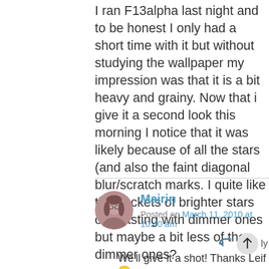I ran F13alpha last night and to be honest I only had a short time with it but without studying the wallpaper my impression was that it is a bit heavy and grainy. Now that i give it a second look this morning I notice that it was likely because of all the stars (and also the faint diagonal blur/scratch marks. I quite like the pockets of brighter stars contrasting with dimmer ones but maybe a bit less of the dimmer ones?
Mairin
Posted on March 11, 2010 at 10:40 am
We'll give it a shot! Thanks Leif 🙂